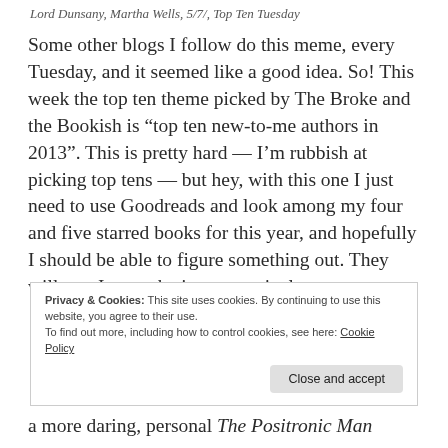Lord Dunsany, Martha Wells, 5/7/, Top Ten Tuesday
Some other blogs I follow do this meme, every Tuesday, and it seemed like a good idea. So! This week the top ten theme picked by The Broke and the Bookish is “top ten new-to-me authors in 2013”. This is pretty hard — I’m rubbish at picking top tens — but hey, with this one I just need to use Goodreads and look among my four and five starred books for this year, and hopefully I should be able to figure something out. They will not, I warn, be in any particular
Privacy & Cookies: This site uses cookies. By continuing to use this website, you agree to their use.
To find out more, including how to control cookies, see here: Cookie Policy
Close and accept
a more daring, personal The Positronic Man